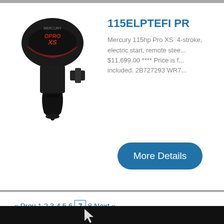[Figure (photo): Mercury 115hp Pro XS outboard motor, black with red accents, shown on white background]
115ELPTEFI PR
Mercury 115hp Pro XS  4-stroke, electric start, remote stee... $11,699.00 **** Price is f... included. 2B727293 WR7...
More Details
« Prev  1  2  3  4  5  6  7  8  Next »